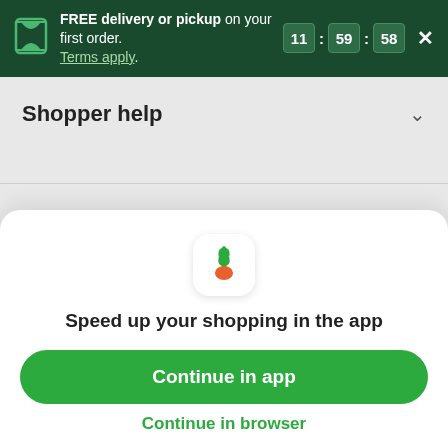FREE delivery or pickup on your first order. Terms apply. 11 : 59 : 58 ×
Shopper help
Accessibility
Enable high contrast colors
[Figure (screenshot): Instacart app icon with green carrot top and orange carrot body]
Speed up your shopping in the app
Continue in app
Continue in browser